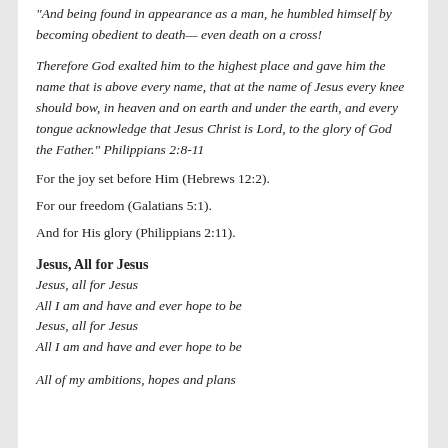"And being found in appearance as a man, he humbled himself by becoming obedient to death— even death on a cross!
Therefore God exalted him to the highest place and gave him the name that is above every name, that at the name of Jesus every knee should bow, in heaven and on earth and under the earth, and every tongue acknowledge that Jesus Christ is Lord, to the glory of God the Father." Philippians 2:8-11
For the joy set before Him (Hebrews 12:2).
For our freedom (Galatians 5:1).
And for His glory (Philippians 2:11).
Jesus, All for Jesus
Jesus, all for Jesus
All I am and have and ever hope to be
Jesus, all for Jesus
All I am and have and ever hope to be
All of my ambitions, hopes and plans